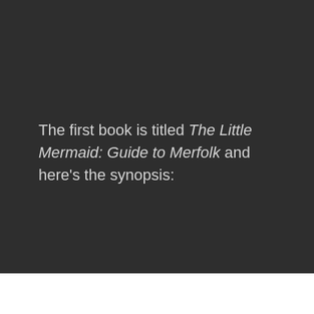The first book is titled The Little Mermaid: Guide to Merfolk and here's the synopsis: